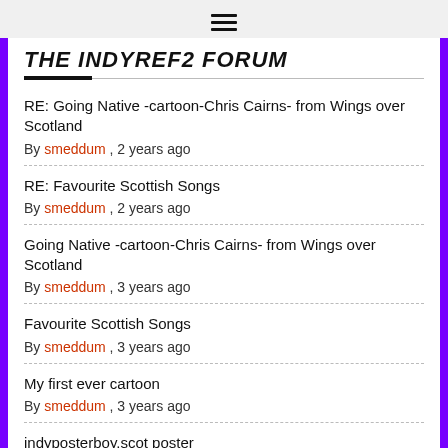THE INDYREF2 FORUM
RE: Going Native -cartoon-Chris Cairns- from Wings over Scotland
By smeddum , 2 years ago
RE: Favourite Scottish Songs
By smeddum , 2 years ago
Going Native -cartoon-Chris Cairns- from Wings over Scotland
By smeddum , 3 years ago
Favourite Scottish Songs
By smeddum , 3 years ago
My first ever cartoon
By smeddum , 3 years ago
indyposterboy.scot poster
By smeddum , 3 years ago